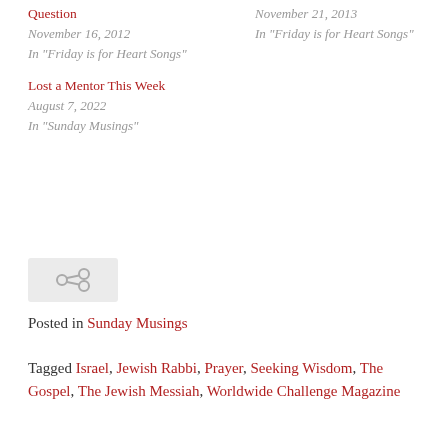Question
November 16, 2012
In "Friday is for Heart Songs"
November 21, 2013
In "Friday is for Heart Songs"
Lost a Mentor This Week
August 7, 2022
In "Sunday Musings"
[Figure (other): Share/link icon button - a small gray rounded rectangle containing a chain-link share icon]
Posted in Sunday Musings
Tagged Israel, Jewish Rabbi, Prayer, Seeking Wisdom, The Gospel, The Jewish Messiah, Worldwide Challenge Magazine